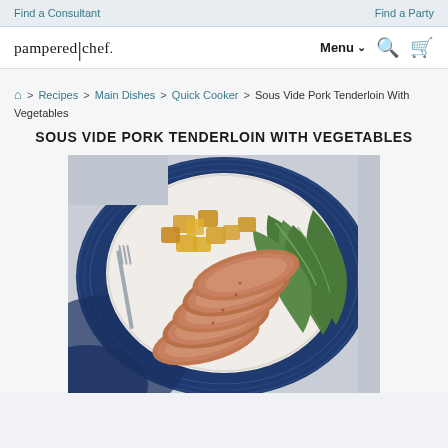Find a Consultant    Find a Party
pampered chef.  Menu  [search icon] [cart icon]
🏠 > Recipes > Main Dishes > Quick Cooker > Sous Vide Pork Tenderloin With Vegetables
SOUS VIDE PORK TENDERLOIN WITH VEGETABLES
[Figure (photo): A white plate on a blue decorative plate filled with sliced pork tenderloin, green beans, and golden cubed potatoes or squash, with a fork on the side. The plate sits on a blue patterned textile.]